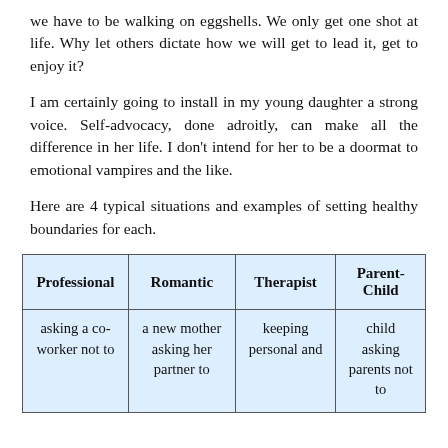we have to be walking on eggshells. We only get one shot at life. Why let others dictate how we will get to lead it, get to enjoy it?
I am certainly going to install in my young daughter a strong voice. Self-advocacy, done adroitly, can make all the difference in her life. I don’t intend for her to be a doormat to emotional vampires and the like.
Here are 4 typical situations and examples of setting healthy boundaries for each.
| Professional | Romantic | Therapist | Parent-Child |
| --- | --- | --- | --- |
| asking a co-worker not to | a new mother asking her partner to | keeping personal and | child asking parents not |